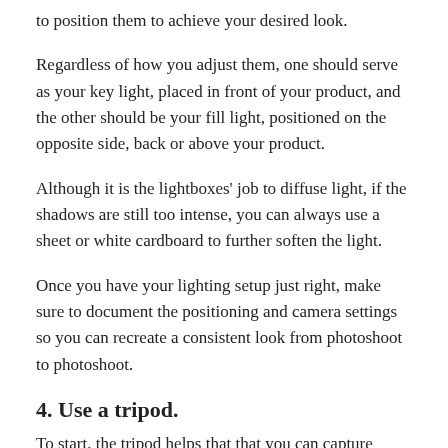to position them to achieve your desired look.
Regardless of how you adjust them, one should serve as your key light, placed in front of your product, and the other should be your fill light, positioned on the opposite side, back or above your product.
Although it is the lightboxes' job to diffuse light, if the shadows are still too intense, you can always use a sheet or white cardboard to further soften the light.
Once you have your lighting setup just right, make sure to document the positioning and camera settings so you can recreate a consistent look from photoshoot to photoshoot.
4. Use a tripod.
To start, the tripod helps that that you can capture detail from